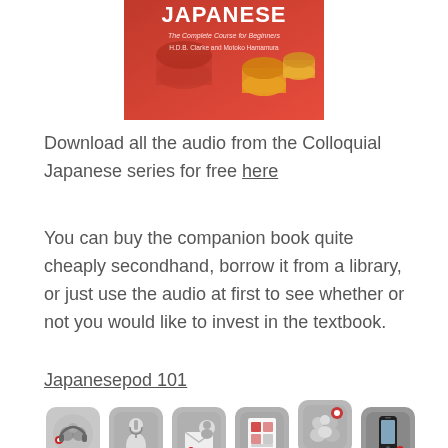[Figure (photo): Book cover for Colloquial Japanese - The Complete Course for Beginners by H.D.B. Clarke and Motoko Hamamura, red background with orange/red cylindrical shapes]
Download all the audio from the Colloquial Japanese series for free here
You can buy the companion book quite cheaply secondhand, borrow it from a library, or just use the audio at first to see whether or not you would like to invest in the textbook.
Japanesepod 101
[Figure (infographic): Row of six rounded-square icons for Japanesepod 101 with captions: Over 2150 Audio and..., Knowledgeable and..., Kanji, Vocabulary and..., Detailed PDF Lesson..., Lively Community Forum, Learn on the go!]